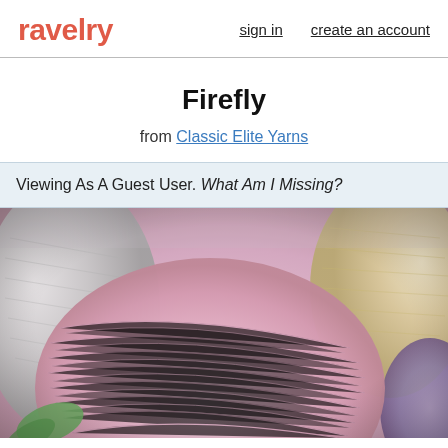ravelry  sign in  create an account
Firefly
from Classic Elite Yarns
Viewing As A Guest User. What Am I Missing?
[Figure (photo): Close-up photo of colorful yarn skeins including pink, white/gray, cream/beige, and purple yarns with green leaves visible, shot with shallow depth of field]